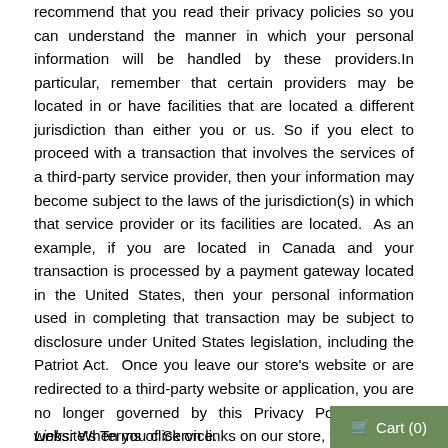recommend that you read their privacy policies so you can understand the manner in which your personal information will be handled by these providers.In particular, remember that certain providers may be located in or have facilities that are located a different jurisdiction than either you or us. So if you elect to proceed with a transaction that involves the services of a third-party service provider, then your information may become subject to the laws of the jurisdiction(s) in which that service provider or its facilities are located.  As an example, if you are located in Canada and your transaction is processed by a payment gateway located in the United States, then your personal information used in completing that transaction may be subject to disclosure under United States legislation, including the Patriot Act.  Once you leave our store's website or are redirected to a third-party website or application, you are no longer governed by this Privacy Policy or our website's Terms of Service.
Links: When you click on links on our store, the